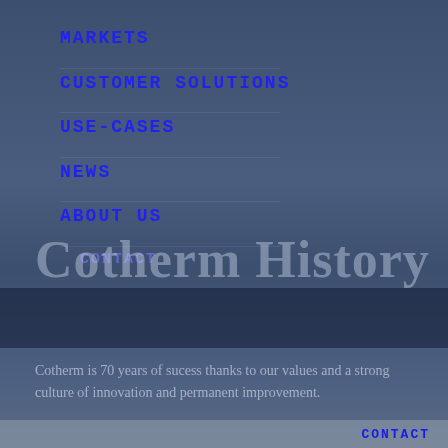MARKETS
CUSTOMER SOLUTIONS
USE-CASES
NEWS
ABOUT US
CONTACT
Cotherm History
SEARCH  |  EN
Cotherm is 70 years of sucess thanks to our values and a strong culture of innovation and permanent improvement.
CONTACT